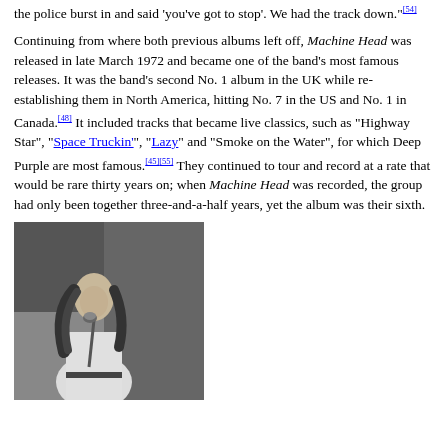the police burst in and said 'you've got to stop'. We had the track down."[54]
Continuing from where both previous albums left off, Machine Head was released in late March 1972 and became one of the band's most famous releases. It was the band's second No. 1 album in the UK while re-establishing them in North America, hitting No. 7 in the US and No. 1 in Canada.[48] It included tracks that became live classics, such as "Highway Star", "Space Truckin'", "Lazy" and "Smoke on the Water", for which Deep Purple are most famous.[45][55] They continued to tour and record at a rate that would be rare thirty years on; when Machine Head was recorded, the group had only been together three-and-a-half years, yet the album was their sixth.
[Figure (photo): Black and white photograph of a man with long hair singing into a microphone on stage.]